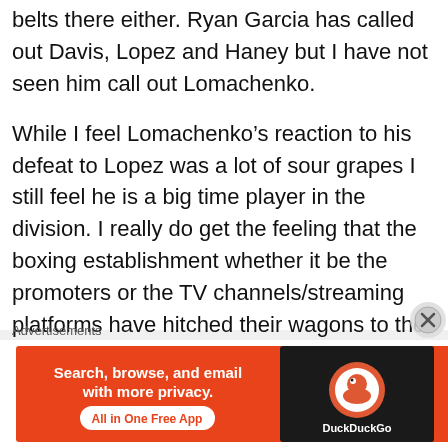belts there either. Ryan Garcia has called out Davis, Lopez and Haney but I have not seen him call out Lomachenko.
While I feel Lomachenko's reaction to his defeat to Lopez was a lot of sour grapes I still feel he is a big time player in the division. I really do get the feeling that the boxing establishment whether it be the promoters or the TV channels/streaming platforms have hitched their wagons to the young talent in the division, Lomachenko is still the inconvenient talent among the unproven pups. My only hope is that he will get a chance to face Haney or Lopez in a passing of the torch
Advertisements
[Figure (screenshot): DuckDuckGo advertisement banner: orange background with text 'Search, browse, and email with more privacy. All in One Free App' and DuckDuckGo logo on dark background on the right.]